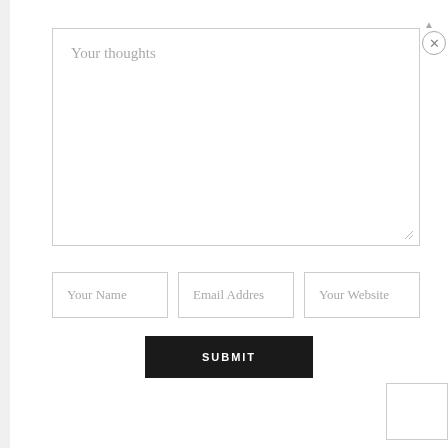Your thoughts
Your Name
Email Address
Your Website
SUBMIT